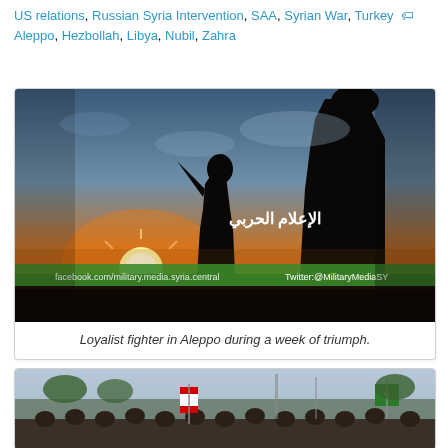US relations, Russian Syria Intervention, SAA, Syrian War, Turkey  🏷 Aleppo, Hezbollah, Libya, Nubil, Zahra
[Figure (photo): A silhouetted soldier holding a weapon against a sunset sky with dramatic orange and yellow light on the horizon. Arabic text reads 'الإعلام الحربي' (Military Media) and a green banner at the bottom shows social media handles: facebook.com/military.media.syria.central and Twitter:@MilitaryMediaSY]
Loyalist fighter in Aleppo during a week of triumph.
[Figure (photo): A crowd scene outdoors with people gathered, flags visible including Lebanese and Hezbollah flags, trees and structures in the background.]